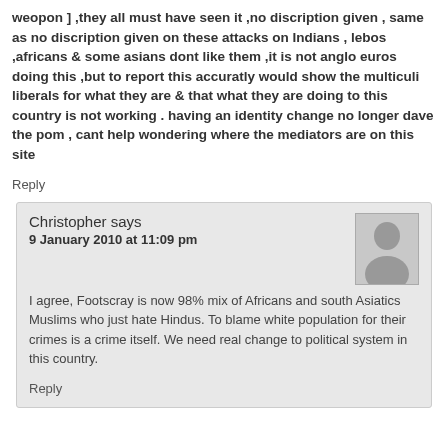weopon ] ,they all must have seen it ,no discription given , same as no discription given on these attacks on Indians , lebos ,africans & some asians dont like them ,it is not anglo euros doing this ,but to report this accuratly would show the multiculi liberals for what they are & that what they are doing to this country is not working . having an identity change no longer dave the pom , cant help wondering where the mediators are on this site
Reply
Christopher says
9 January 2010 at 11:09 pm
[Figure (illustration): Generic user avatar placeholder image - gray silhouette of a person]
I agree, Footscray is now 98% mix of Africans and south Asiatics Muslims who just hate Hindus. To blame white population for their crimes is a crime itself. We need real change to political system in this country.
Reply